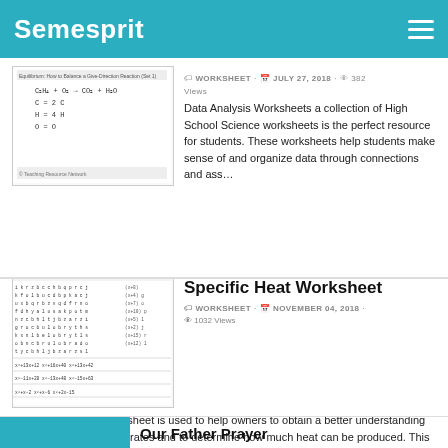Semesprit
[Figure (screenshot): Thumbnail of a chemistry/data worksheet showing a chemical equation balancing exercise]
WORKSHEET · JULY 27, 2018 · 382 Views
Data Analysis Worksheets a collection of High School Science worksheets is the perfect resource for students. These worksheets help students make sense of and organize data through connections and ass…
Specific Heat Worksheet
[Figure (screenshot): Thumbnail of a factoring / algebra worksheet showing a grid of polynomial expressions]
WORKSHEET · NOVEMBER 04, 2018 · 1032 Views
The Specific Heat Worksheet is used to help owners to obtain a better understanding of how their furnace operates and to determine how much heat can be produced. This worksheet will provide owners wit…
Our Father Prayer